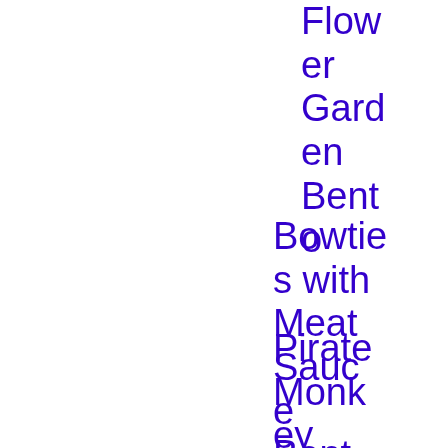Flower Garden Bento
Bowties with Meat Sauce Bento
Pirate Monkey